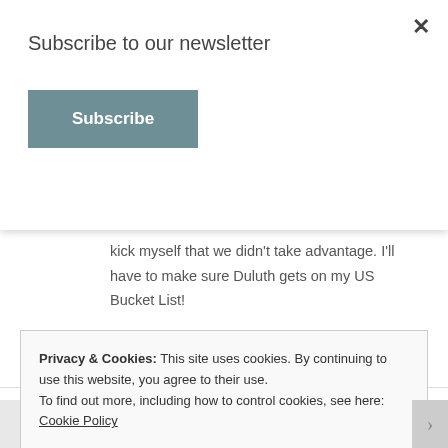Subscribe to our newsletter
Subscribe
kick myself that we didn't take advantage. I'll have to make sure Duluth gets on my US Bucket List!
★ Like
Reply
Privacy & Cookies: This site uses cookies. By continuing to use this website, you agree to their use.
To find out more, including how to control cookies, see here: Cookie Policy
Close and accept